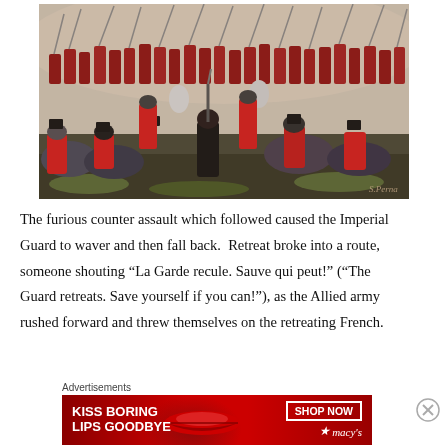[Figure (illustration): Painting of a battle scene showing soldiers in red uniforms with rifles charging/clashing in a chaotic melee. The Imperial Guard counter assault at Waterloo, painted in a dynamic composition with figures filling the canvas.]
The furious counter assault which followed caused the Imperial Guard to waver and then fall back.  Retreat broke into a route, someone shouting “La Garde recule. Sauve qui peut!” (“The Guard retreats. Save yourself if you can!”), as the Allied army rushed forward and threw themselves on the retreating French.
Advertisements
[Figure (photo): Advertisement banner: red background with white bold text 'KISS BORING LIPS GOODBYE', a woman's face with red lips, and 'SHOP NOW' button with Macy's star logo on the right side.]